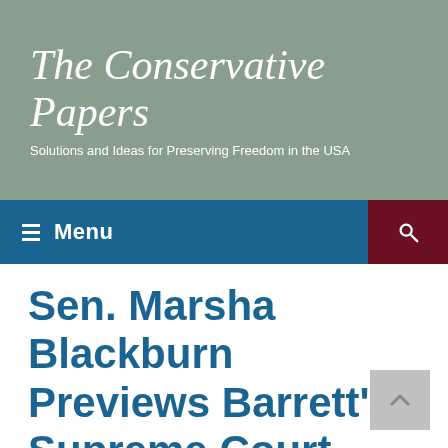The Conservative Papers
Solutions and Ideas for Preserving Freedom in the USA
Menu
Sen. Marsha Blackburn Previews Barrett's Supreme Court Confirmation Hearings